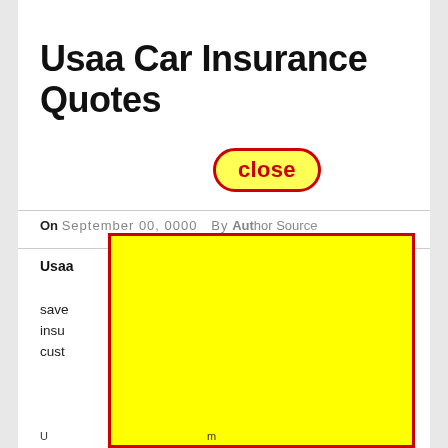Usaa Car Insurance Quotes
[Figure (screenshot): Yellow rectangle with red border overlaying the page content, with a red-bordered 'close' button in yellow background positioned above it]
On [date], [By author/source]
Usaa
save ... r insu... cust...
U...m